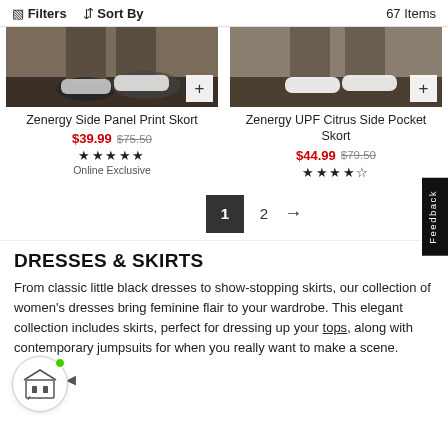Filters  Sort By  67 Items
[Figure (photo): Two product listing cards showing shoe/skort images from below knees, both with + quick-add buttons. Left: Zenergy Side Panel Print Skort. Right: Zenergy UPF Citrus Side Pocket Skort.]
Zenergy Side Panel Print Skort
$39.99  $75.50  ★★★★★  Online Exclusive
Zenergy UPF Citrus Side Pocket Skort
$44.99  $79.50  ★★★★☆
1  2  →
DRESSES & SKIRTS
From classic little black dresses to show-stopping skirts, our collection of women's dresses bring feminine flair to your wardrobe. This elegant collection includes skirts, perfect for dressing up your tops, along with contemporary jumpsuits for when you really want to make a scene.